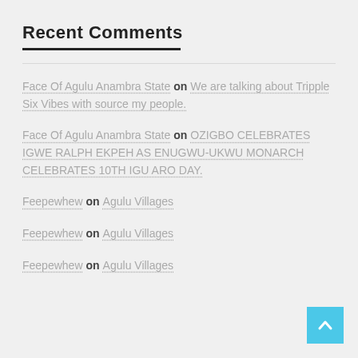Recent Comments
Face Of Agulu Anambra State on We are talking about Tripple Six Vibes with source my people.
Face Of Agulu Anambra State on OZIGBO CELEBRATES IGWE RALPH EKPEH AS ENUGWU-UKWU MONARCH CELEBRATES 10TH IGU ARO DAY.
Feepewhew on Agulu Villages
Feepewhew on Agulu Villages
Feepewhew on Agulu Villages